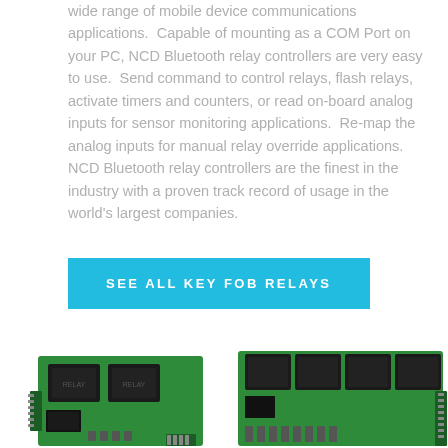wide range of mobile device communications applications.  Capable of mounting as a COM Port on your PC, NCD Bluetooth relay controllers are very easy to use.  Send command to control relays, flash relays, activate timers and counters, or read on-board analog inputs for sensor monitoring applications.  Re-map the analog inputs for manual relay override applications.  NCD Bluetooth relay controllers are the finest in the industry with a proven track record of usage in the world's largest companies.
[Figure (other): A cyan/blue rectangular button with white uppercase text reading 'SEE ALL KEY FOB RELAYS']
[Figure (photo): Two green PCB relay controller boards photographed side by side. The left board has 2 relays and the right board has 4 relays, both with black relay modules and edge connectors.]